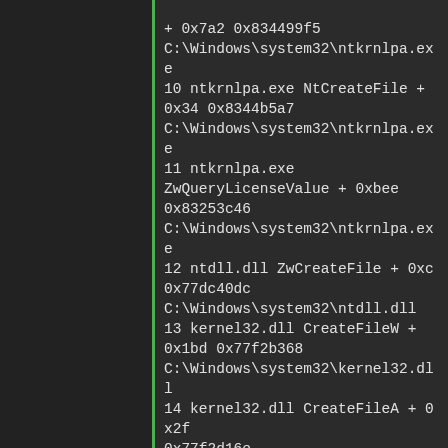[Figure (screenshot): Dark-themed debugger or stack trace view showing a call stack with entries numbered 10-15, listing module names, function names, offsets, and memory addresses for Windows system DLLs and an application executable. A green vertical line appears on the left side as a UI element.]
+ 0x7a2 0x834499f5 C:\Windows\system32\ntkrnlpa.exe 10 ntkrnlpa.exe NtCreateFile + 0x34 0x8344b5a7 C:\Windows\system32\ntkrnlpa.exe 11 ntkrnlpa.exe ZwQueryLicenseValue + 0xbee 0x83253c46 C:\Windows\system32\ntkrnlpa.exe 12 ntdll.dll ZwCreateFile + 0xc 0x77dc40dc C:\Windows\system32\ntdll.dll 13 kernel32.dll CreateFileW + 0x1bd 0x77f2b368 C:\Windows\system32\kernel32.dll 14 kernel32.dll CreateFileA + 0x2f 0x77f2d16e C:\Windows\system32\kernel32.dll 15 AP7_win_x86_SSE2_OpenCL_NV_r2721.exe